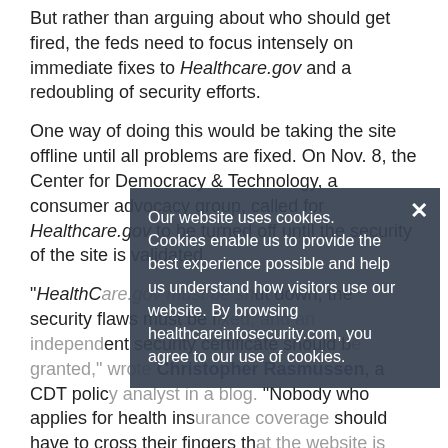But rather than arguing about who should get fired, the feds need to focus intensely on immediate fixes to Healthcare.gov and a redoubling of security efforts.
One way of doing this would be taking the site offline until all problems are fixed. On Nov. 8, the Center for Democracy & Technology, a consumer advocacy group, called for Healthcare.gov to be turned off until the security of the site is validated.
"HealthCare.gov must be shut down, the security flaws must be fixed, and an independent security certificate should be granted," wrote Christopher Rasmussen, a CDT policy analyst in a blog. "Nobody who applies for health insurance coverage should have to cross their fingers that the website is secure and that their privacy is being protected."
Clearly, building public trust in Healthcare.gov will be an
Our website uses cookies. Cookies enable us to provide the best experience possible and help us understand how visitors use our website. By browsing healthcareinfosecurity.com, you agree to our use of cookies.